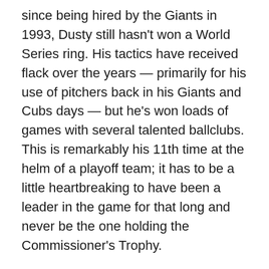since being hired by the Giants in 1993, Dusty still hasn't won a World Series ring. His tactics have received flack over the years — primarily for his use of pitchers back in his Giants and Cubs days — but he's won loads of games with several talented ballclubs. This is remarkably his 11th time at the helm of a playoff team; it has to be a little heartbreaking to have been a leader in the game for that long and never be the one holding the Commissioner's Trophy.
And then there's Greinke, who has had longevity as a starting pitcher that is rare to see. It does seem like his years of excellence might have come to an end, but even so. FanGraphs had his WAR this season at 1.3 (at the age of 37). A longtime character, his talent and the frequency with which he was traded to contenders made it seem like he should have won a championship